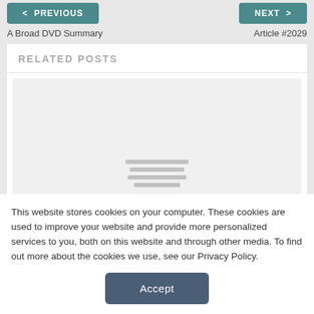< PREVIOUS
NEXT >
A Broad DVD Summary
Article #2029
RELATED POSTS
[Figure (other): Placeholder image with horizontal lines indicating loading or placeholder content]
This website stores cookies on your computer. These cookies are used to improve your website and provide more personalized services to you, both on this website and through other media. To find out more about the cookies we use, see our Privacy Policy.
Accept